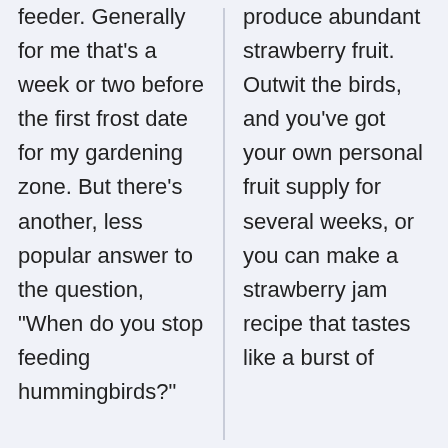feeder. Generally for me that's a week or two before the first frost date for my gardening zone. But there's another, less popular answer to the question, "When do you stop feeding hummingbirds?"
produce abundant strawberry fruit. Outwit the birds, and you've got your own personal fruit supply for several weeks, or you can make a strawberry jam recipe that tastes like a burst of